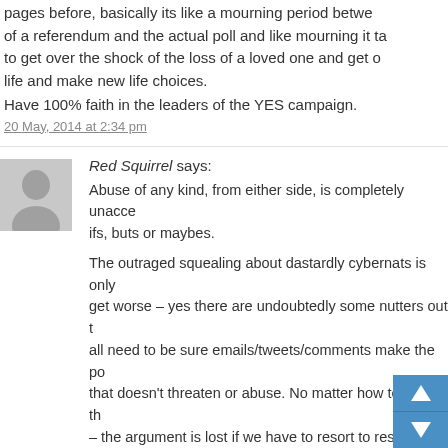pages before, basically its like a mourning period between of a referendum and the actual poll and like mourning it ta to get over the shock of the loss of a loved one and get o life and make new life choices.
Have 100% faith in the leaders of the YES campaign.
20 May, 2014 at 2:34 pm
Red Squirrel says:
Abuse of any kind, from either side, is completely unacce ifs, buts or maybes.
The outraged squealing about dastardly cybernats is only get worse – yes there are undoubtedly some nutters out t all need to be sure emails/tweets/comments make the po that doesn't threaten or abuse. No matter how tempting th – the argument is lost if we have to resort to responses th used against us.
20 May, 2014 at 2:35 pm
Gillie says:
I vote for Cyberfarting.